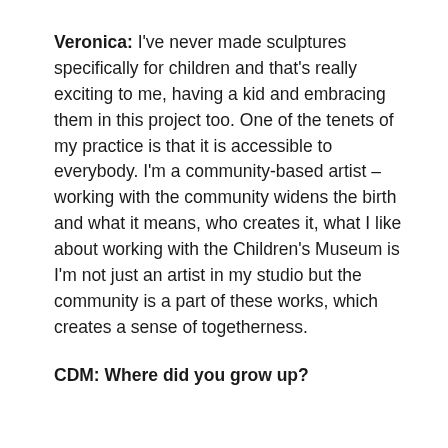Veronica: I've never made sculptures specifically for children and that's really exciting to me, having a kid and embracing them in this project too. One of the tenets of my practice is that it is accessible to everybody. I'm a community-based artist – working with the community widens the birth and what it means, who creates it, what I like about working with the Children's Museum is I'm not just an artist in my studio but the community is a part of these works, which creates a sense of togetherness.
CDM: Where did you grow up?